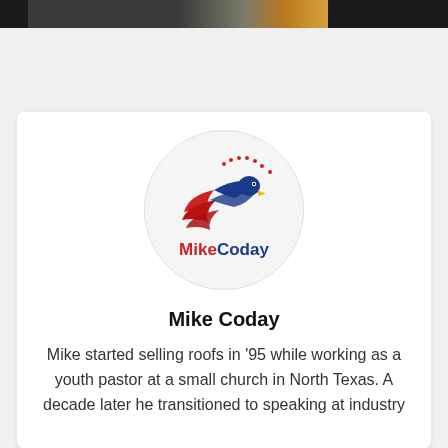[Figure (photo): Top dark banner image strip, partially visible, showing what appears to be a person or scene with dark and orange tones.]
[Figure (logo): Mike Coday logo: an eagle head with red and blue wing swooshes and red stars arranged in a circular arc, with 'MikeCoday' text in red and blue below.]
Mike Coday
Mike started selling roofs in '95 while working as a youth pastor at a small church in North Texas. A decade later he transitioned to speaking at industry